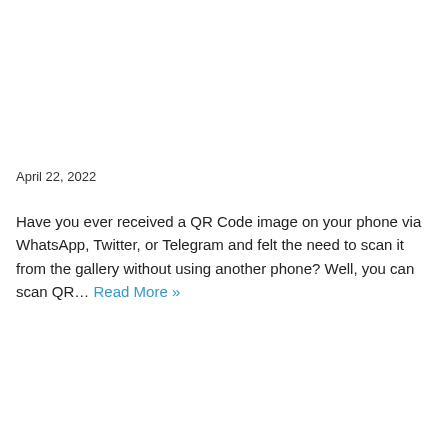April 22, 2022
Have you ever received a QR Code image on your phone via WhatsApp, Twitter, or Telegram and felt the need to scan it from the gallery without using another phone? Well, you can scan QR… Read More »